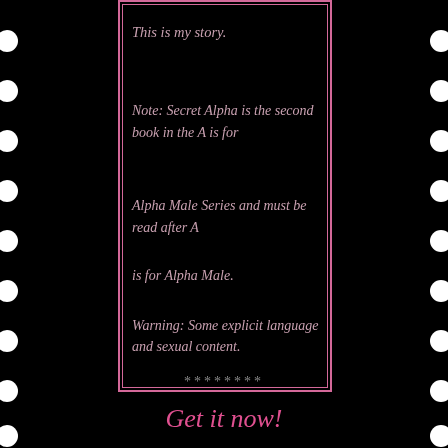This is my story.
Note: Secret Alpha is the second book in the A is for Alpha Male Series and must be read after A is for Alpha Male.
Warning: Some explicit language and sexual content.
********
Get it now!